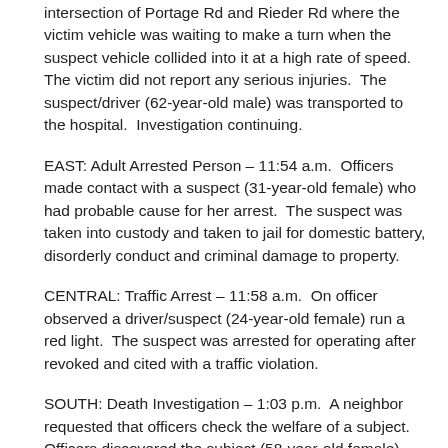intersection of Portage Rd and Rieder Rd where the victim vehicle was waiting to make a turn when the suspect vehicle collided into it at a high rate of speed.  The victim did not report any serious injuries.  The suspect/driver (62-year-old male) was transported to the hospital.  Investigation continuing.
EAST: Adult Arrested Person – 11:54 a.m.  Officers made contact with a suspect (31-year-old female) who had probable cause for her arrest.  The suspect was taken into custody and taken to jail for domestic battery, disorderly conduct and criminal damage to property.
CENTRAL: Traffic Arrest – 11:58 a.m.  On officer observed a driver/suspect (24-year-old female) run a red light.  The suspect was arrested for operating after revoked and cited with a traffic violation.
SOUTH: Death Investigation – 1:03 p.m.  A neighbor requested that officers check the welfare of a subject.  Officers discovered the subject (58-year-old female) deceased in her residence.  Nothing suspicious on scene.  Medical examiner responded.
MIDTOWN: Strong Arm Robbery – 3:26 p.m.  A suspect (13-